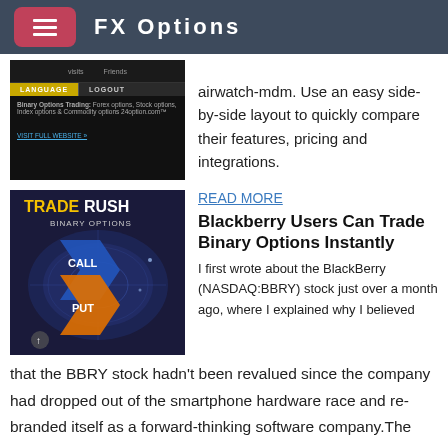FX Options
[Figure (screenshot): Screenshot of a binary options trading website with language and logout buttons]
airwatch-mdm. Use an easy side-by-side layout to quickly compare their features, pricing and integrations.
READ MORE
Blackberry Users Can Trade Binary Options Instantly
[Figure (illustration): TradeRush Binary Options advertisement with CALL and PUT arrows and world map]
I first wrote about the BlackBerry (NASDAQ:BBRY) stock just over a month ago, where I explained why I believed that the BBRY stock hadn't been revalued since the company had dropped out of the smartphone hardware race and re-branded itself as a forward-thinking software company.The original article can be found here.. Since that article, written on Mar 17th, the BBRY stock has rallied to